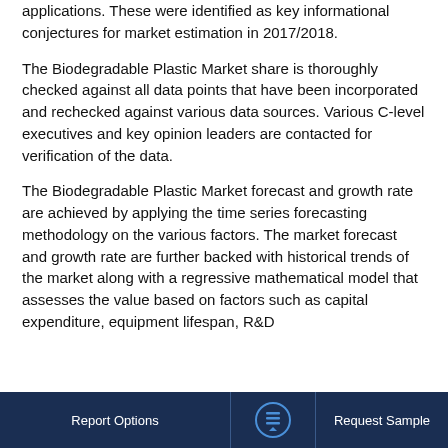applications. These were identified as key informational conjectures for market estimation in 2017/2018.
The Biodegradable Plastic Market share is thoroughly checked against all data points that have been incorporated and rechecked against various data sources. Various C-level executives and key opinion leaders are contacted for verification of the data.
The Biodegradable Plastic Market forecast and growth rate are achieved by applying the time series forecasting methodology on the various factors. The market forecast and growth rate are further backed with historical trends of the market along with a regressive mathematical model that assesses the value based on factors such as capital expenditure, equipment lifespan, R&D
Report Options   Request Sample